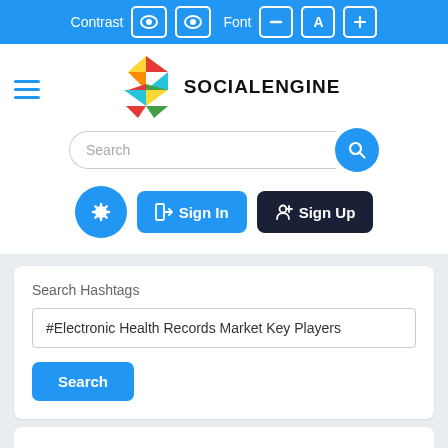Contrast  Font
[Figure (logo): SocialEngine logo with colorful polygon S shape and SOCIALENGINE text]
Search
Sign In  Sign Up
Search Hashtags
#Electronic Health Records Market Key Players
Search